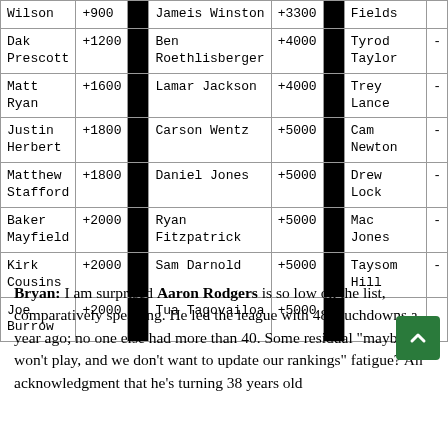| Player | Odds |  | Player | Odds |  | Player | Odds |
| --- | --- | --- | --- | --- | --- | --- | --- |
| Wilson | +900 |  | Jameis Winston | +3300 |  | Fields |  |
| Dak Prescott | +1200 |  | Ben Roethlisberger | +4000 |  | Tyrod Taylor | - |
| Matt Ryan | +1600 |  | Lamar Jackson | +4000 |  | Trey Lance | - |
| Justin Herbert | +1800 |  | Carson Wentz | +5000 |  | Cam Newton | - |
| Matthew Stafford | +1800 |  | Daniel Jones | +5000 |  | Drew Lock | - |
| Baker Mayfield | +2000 |  | Ryan Fitzpatrick | +5000 |  | Mac Jones | - |
| Kirk Cousins | +2000 |  | Sam Darnold | +5000 |  | Taysom Hill | - |
| Joe Burrow | +2000 |  | Tua Tagovailoa | +5000 |  |  |  |
Bryan: I am surprised Aaron Rodgers is so low on the list, comparatively speaking. He led the league with 48 touchdowns a year ago; no one else had more than 40. Some residual "maybe he won't play, and we don't want to update our rankings" fatigue? An acknowledgment that he's turning 38 years old